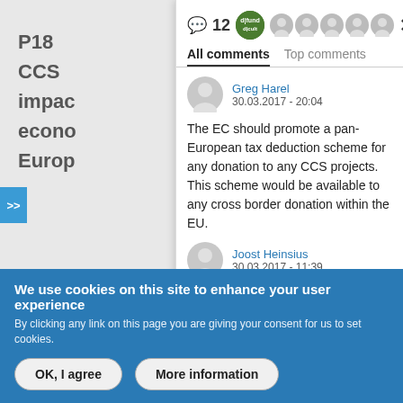P18
CCS
impact
econom
Europ
💬 12
All comments   Top comments
Greg Harel
30.03.2017 - 20:04
The EC should promote a pan-European tax deduction scheme for any donation to any CCS projects. This scheme would be available to any cross border donation within the EU.
Joost Heinsius
30.03.2017 - 11:39
We use cookies on this site to enhance your user experience
By clicking any link on this page you are giving your consent for us to set cookies.
OK, I agree
More information